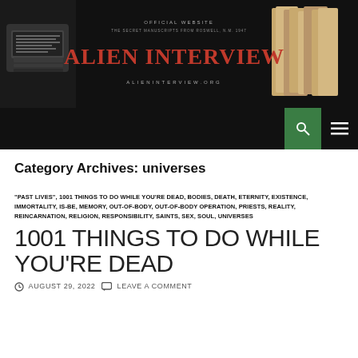[Figure (screenshot): Alien Interview website header banner with typewriter image on left, red stylized 'ALIEN INTERVIEW' title in center, book covers on right, on dark background. Official website text above title, alieninterview.org URL below.]
[Figure (screenshot): Dark navigation bar with green search button (magnifying glass icon) and white hamburger menu icon on right side.]
Category Archives: universes
"PAST LIVES", 1001 THINGS TO DO WHILE YOU'RE DEAD, BODIES, DEATH, ETERNITY, EXISTENCE, IMMORTALITY, IS-BE, MEMORY, OUT-OF-BODY, OUT-OF-BODY OPERATION, PRIESTS, REALITY, REINCARNATION, RELIGION, RESPONSIBILITY, SAINTS, SEX, SOUL, UNIVERSES
1001 THINGS TO DO WHILE YOU'RE DEAD
AUGUST 29, 2022   LEAVE A COMMENT